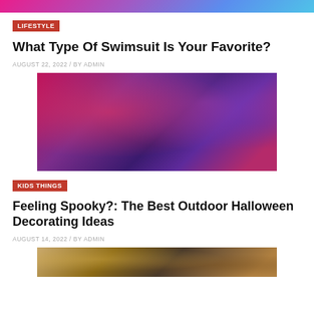[Figure (photo): Top strip showing a partial photo of people in colorful scene (cut off at top of page)]
LIFESTYLE
What Type Of Swimsuit Is Your Favorite?
AUGUST 22, 2022 / BY ADMIN
[Figure (photo): Three skeleton Halloween decorations lit with red and purple lights in a decorated room]
KIDS THINGS
Feeling Spooky?: The Best Outdoor Halloween Decorating Ideas
AUGUST 14, 2022 / BY ADMIN
[Figure (photo): Partially visible photo at bottom of page, showing a blurred figure near a window (Halloween decorating article image)]